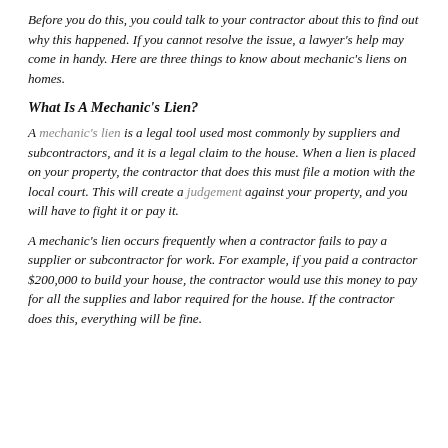Before you do this, you could talk to your contractor about this to find out why this happened. If you cannot resolve the issue, a lawyer's help may come in handy. Here are three things to know about mechanic's liens on homes.
What Is A Mechanic's Lien?
A mechanic's lien is a legal tool used most commonly by suppliers and subcontractors, and it is a legal claim to the house. When a lien is placed on your property, the contractor that does this must file a motion with the local court. This will create a judgement against your property, and you will have to fight it or pay it.
A mechanic's lien occurs frequently when a contractor fails to pay a supplier or subcontractor for work. For example, if you paid a contractor $200,000 to build your house, the contractor would use this money to pay for all the supplies and labor required for the house. If the contractor does this, everything will be fine.